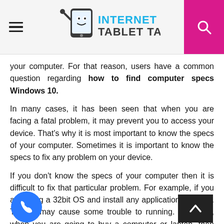Internet Tablet Talk
your computer. For that reason, users have a common question regarding how to find computer specs Windows 10.
In many cases, it has been seen that when you are facing a fatal problem, it may prevent you to access your device. That's why it is most important to know the specs of your computer. Sometimes it is important to know the specs to fix any problem on your device.
If you don't know the specs of your computer then it is difficult to fix that particular problem. For example, if you are using a 32bit OS and install any application of 64-bit. Then it may cause some trouble to running. Moreover, when you are going to buy a computer or laptop, then knowing the specs of that device is very essential before buying that device.